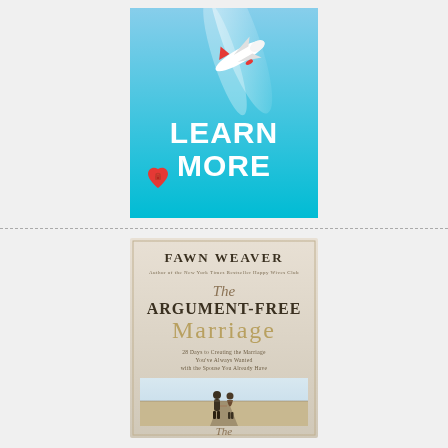[Figure (illustration): Advertisement banner with light blue background showing an airplane flying upward with a white light beam, a red heart with a lock/key in the lower left, and bold white text reading 'LEARN MORE']
[Figure (photo): Book cover for 'The Argument-Free Marriage' by Fawn Weaver. Author of the New York Times Bestseller Happy Wives Club. Subtitle: 28 Days to Creating the Marriage You've Always Wanted with the Spouse You Already Have. Shows a couple holding hands walking on a road viewed from behind.]